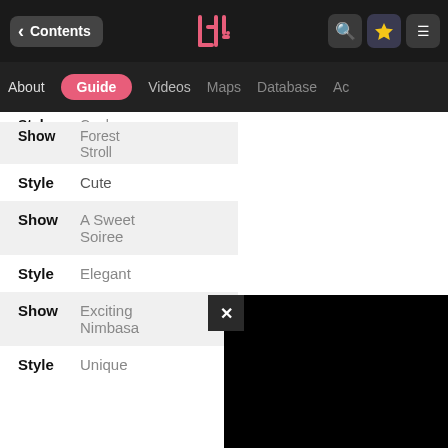Contents
About  Guide  Videos  Maps  Database  Ac...
| Label | Value |
| --- | --- |
| Style | Cool |
| Show | Forest Stroll |
| Style | Cute |
| Show | A Sweet Soiree |
| Style | Elegant |
| Show | Exciting Nimbasa |
| Style | Unique |
[Figure (screenshot): Black video/media panel with X close button overlay on right side of screen]